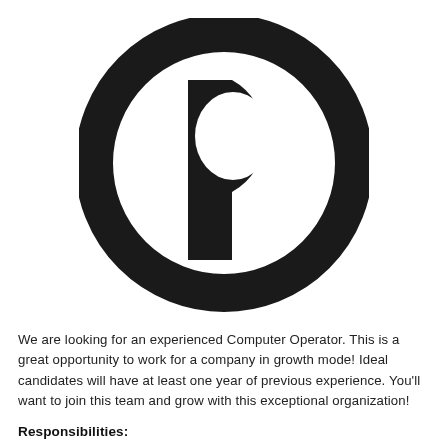[Figure (logo): Black circular logo with a stylized 'P' letter inside a ring — the letter P has a rounded top with a gap at the bottom right forming a pointer/cursor shape. The design is monochrome black on white.]
We are looking for an experienced Computer Operator. This is a great opportunity to work for a company in growth mode! Ideal candidates will have at least one year of previous experience. You'll want to join this team and grow with this exceptional organization!
Responsibilities: